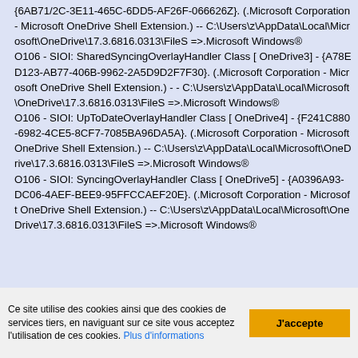{6AB71/2C-3E11-465C-6DD5-AF26F-066626Z}. (.Microsoft Corporation - Microsoft OneDrive Shell Extension.) -- C:\Users\z\AppData\Local\Microsoft\OneDrive\17.3.6816.0313\FileS =>.Microsoft Windows® O106 - SIOI: SharedSyncingOverlayHandler Class [ OneDrive3] - {A78ED123-AB77-406B-9962-2A5D9D2F7F30}. (.Microsoft Corporation - Microsoft OneDrive Shell Extension.) - - C:\Users\z\AppData\Local\Microsoft\OneDrive\17.3.6816.0313\FileS =>.Microsoft Windows® O106 - SIOI: UpToDateOverlayHandler Class [ OneDrive4] - {F241C880-6982-4CE5-8CF7-7085BA96DA5A}. (.Microsoft Corporation - Microsoft OneDrive Shell Extension.) -- C:\Users\z\AppData\Local\Microsoft\OneDrive\17.3.6816.0313\FileS =>.Microsoft Windows® O106 - SIOI: SyncingOverlayHandler Class [ OneDrive5] - {A0396A93-DC06-4AEF-BEE9-95FFCCAEF20E}. (.Microsoft Corporation - Microsoft OneDrive Shell Extension.) -- C:\Users\z\AppData\Local\Microsoft\OneDrive\17.3.6816.0313\FileS =>.Microsoft Windows®
Ce site utilise des cookies ainsi que des cookies de services tiers, en naviguant sur ce site vous acceptez l'utilisation de ces cookies. Plus d'informations